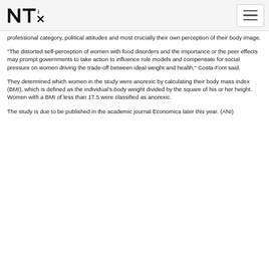NTI logo and navigation
professional category, political attitudes and most crucially their own perception of their body image.
"The distorted self-perception of women with food disorders and the importance or the peer effects may prompt governments to take action to influence role models and compensate for social pressure on women driving the trade-off between ideal weight and health," Costa-Font said.
They determined which women in the study were anorexic by calculating their body mass index (BMI), which is defined as the individual's body weight divided by the square of his or her height. Women with a BMI of less than 17.5 were classified as anorexic.
The study is due to be published in the academic journal Economica later this year. (ANI)